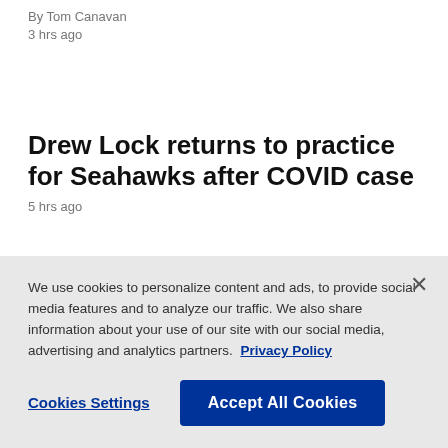By Tom Canavan
3 hrs ago
Drew Lock returns to practice for Seahawks after COVID case
5 hrs ago
Backup QBs Dobbs, Minshew shine, Eagles edge Browns 21-20
By Tom Withers
6 hrs ago
We use cookies to personalize content and ads, to provide social media features and to analyze our traffic. We also share information about your use of our site with our social media, advertising and analytics partners. Privacy Policy
Cookies Settings
Accept All Cookies